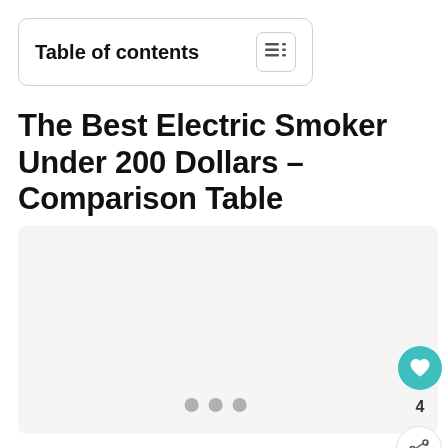Table of contents
The Best Electric Smoker Under 200 Dollars – Comparison Table
[Figure (other): Empty image carousel placeholder with three navigation dots at the bottom, a teal heart/like button, a share button, and a count of 4 on the right side.]